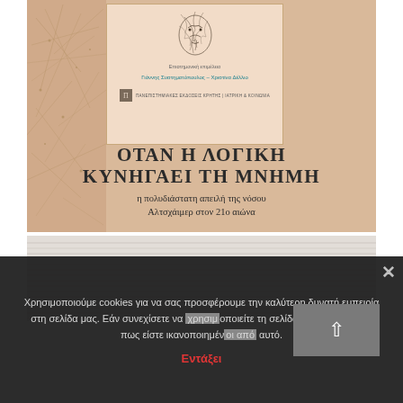[Figure (illustration): Book cover with beige/tan background. Features a sketched face at top, subtitle text, authors 'Γιάννης Συστηματόπουλος – Χριστίνα Δέλλιο', publisher logo, and main title 'ΟΤΑΝ Η ΛΟΓΙΚΗ ΚΥΝΗΓΑΕΙ ΤΗ ΜΝΗΜΗ' with subtitle 'η πολυδιάστατη απειλή της νόσου Αλτσχάιμερ στον 21ο αιώνα'. Left side has decorative line art texture.]
[Figure (photo): Partial view of another book or page with white/cream textured background showing horizontal line patterns.]
Χρησιμοποιούμε cookies για να σας προσφέρουμε την καλύτερη δυνατή εμπειρία στη σελίδα μας. Εάν συνεχίσετε να χρησιμοποιείτε τη σελίδα, θα υποθέσουμε πως είστε ικανοποιημένοι από αυτό.
Εντάξει